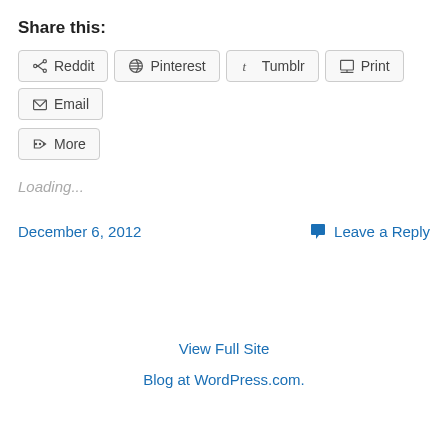Share this:
Reddit  Pinterest  Tumblr  Print  Email  More
Loading...
December 6, 2012
Leave a Reply
View Full Site
Blog at WordPress.com.